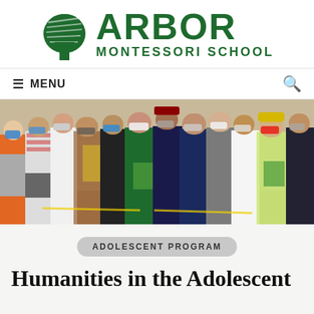[Figure (logo): Arbor Montessori School logo with green tree graphic and text 'ARBOR MONTESSORI SCHOOL']
≡ MENU
[Figure (photo): Group of adolescent students wearing face masks standing in a line outdoors, holding papers and books, dressed in casual clothing with various colors.]
ADOLESCENT PROGRAM
Humanities in the Adolescent